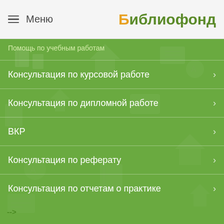Меню — Библиофонд
Помощь по учебным работам
Консультация по курсовой работе
Консультация по дипломной работе
ВКР
Консультация по реферату
Консультация по отчетам о практике
-->